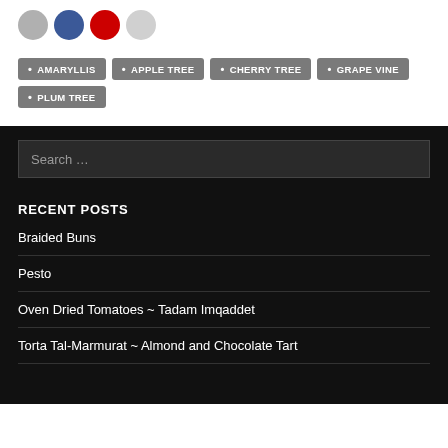[Figure (other): Social media icon circles: gray, blue, red, light gray]
AMARYLLIS
APPLE TREE
CHERRY TREE
GRAPE VINE
PLUM TREE
Search ...
RECENT POSTS
Braided Buns
Pesto
Oven Dried Tomatoes ~ Tadam Imqaddet
Torta Tal-Marmurat ~ Almond and Chocolate Tart